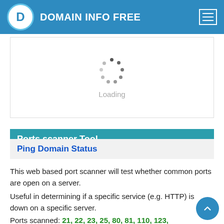DOMAIN INFO FREE
[Figure (other): Loading spinner animation with dots arranged in a circle and 'Loading' text below]
Ports scanner Tool
Ping Domain Status
This web based port scanner will test whether common ports are open on a server.
Useful in determining if a specific service (e.g. HTTP) is down on a specific server.
Ports scanned: 21, 22, 23, 25, 80, 81, 110, 123, 143, 443...